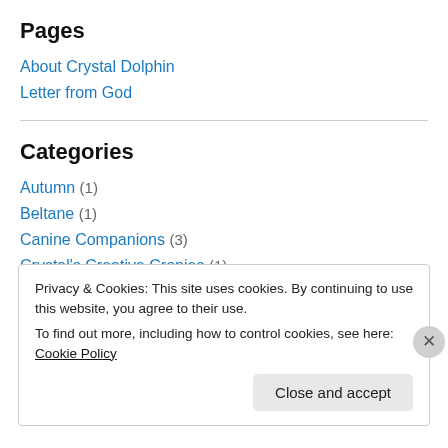Pages
About Crystal Dolphin
Letter from God
Categories
Autumn (1)
Beltane (1)
Canine Companions (3)
Crystal's Creative Cronies (1)
Deaf/Hearing Relations (3)
Privacy & Cookies: This site uses cookies. By continuing to use this website, you agree to their use. To find out more, including how to control cookies, see here: Cookie Policy
Close and accept